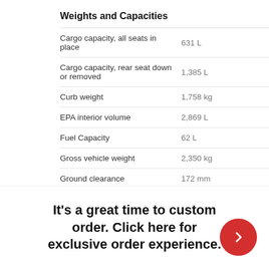Weights and Capacities
|  |  |
| --- | --- |
| Cargo capacity, all seats in place | 631 L |
| Cargo capacity, rear seat down or removed | 1,385 L |
| Curb weight | 1,758 kg |
| EPA interior volume | 2,869 L |
| Fuel Capacity | 62 L |
| Gross vehicle weight | 2,350 kg |
| Ground clearance | 172 mm |
| Max cargo capacity | 1,385 L |
| Turning radius | 6 m |
It's a great time to custom order. Click here for exclusive order experience.